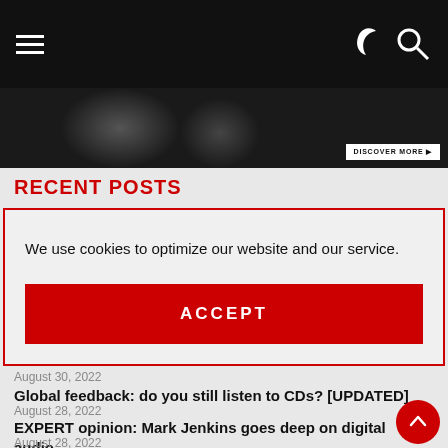Navigation bar with hamburger menu and icons
[Figure (photo): Dark background image with DISCOVER MORE button in bottom right]
RECENT POSTS
We use cookies to optimize our website and our service.
ACCEPT
August 30, 2022
Global feedback: do you still listen to CDs? [UPDATED]
August 28, 2022
EXPERT opinion: Mark Jenkins goes deep on digital audio
August 28, 2022